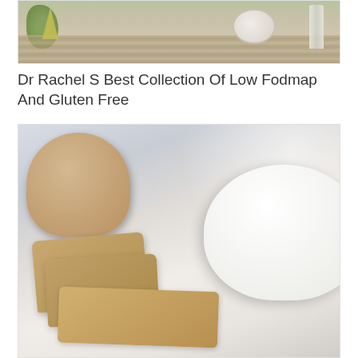[Figure (photo): Top portion of a card showing food items on a wooden surface: herbs, a bowl, and small bottles/jars arranged on a light wood-grain background.]
Dr Rachel S Best Collection Of Low Fodmap And Gluten Free
[Figure (photo): Photo of sliced gluten-free bread loaves on a white surface with a white bowl filled with what appears to be a bean or grain mixture in the background.]